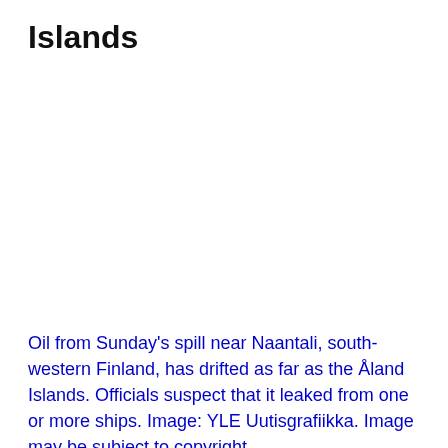Islands
Oil from Sunday's spill near Naantali, south-western Finland, has drifted as far as the Åland Islands. Officials suspect that it leaked from one or more ships. Image: YLE Uutisgrafiikka. Image may be subject to copyright.